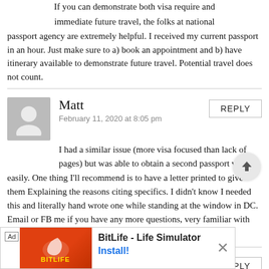If you can demonstrate both visa require and immediate future travel, the folks at national passport agency are extremely helpful. I received my current passport in an hour. Just make sure to a) book an appointment and b) have itinerary available to demonstrate future travel. Potential travel does not count.
Matt
February 11, 2020 at 8:05 pm
I had a similar issue (more visa focused than lack of pages) but was able to obtain a second passport very easily. One thing I'll recommend is to have a letter printed to give them Explaining the reasons citing specifics. I didn't know I needed this and literally hand wrote one while standing at the window in DC. Email or FB me if you have any more questions, very familiar with the process.
Sam
February 11, 2020 at 10:57 pm
[Figure (infographic): BitLife - Life Simulator advertisement banner with orange/red background, game logo, Ad label, and Install button]